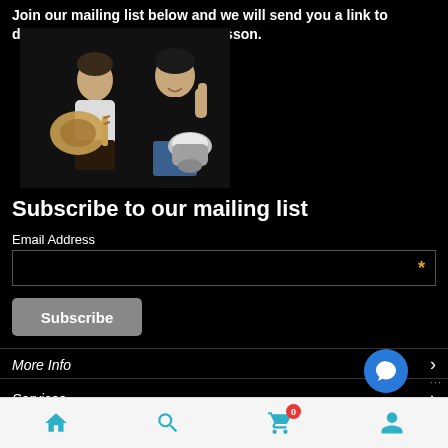Join our mailing list below and we will send you a link to download our darbuka or oud lesson.
[Figure (photo): Two men on black background, left man seated holding an oud instrument, right man holding a darbuka drum with thumbs up]
Subscribe to our mailing list
Email Address
Subscribe
More Info
Services
Home  Search  Cart (0)  Account  More